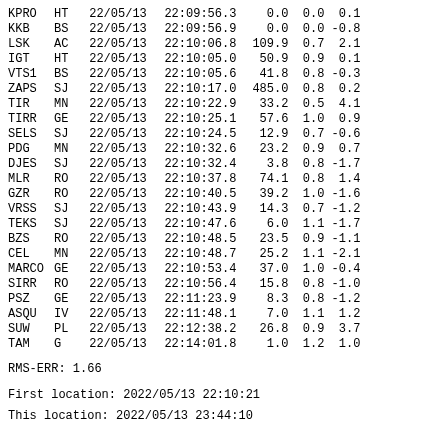| Station | Type | Date | Time | Val1 | Val2 | Val3 |
| --- | --- | --- | --- | --- | --- | --- |
| KPRO | HT | 22/05/13 | 22:09:56.3 | 0.0 | 0.0 | 0.1 |
| KKB | BS | 22/05/13 | 22:09:56.9 | 0.0 | 0.0 | -0.8 |
| LSK | AC | 22/05/13 | 22:10:06.8 | 109.9 | 0.7 | 2.1 |
| IGT | HT | 22/05/13 | 22:10:05.0 | 50.9 | 0.9 | 0.1 |
| VTS1 | BS | 22/05/13 | 22:10:05.6 | 41.8 | 0.8 | -0.3 |
| ZAPS | SJ | 22/05/13 | 22:10:17.0 | 485.0 | 0.8 | 0.2 |
| TIR | MN | 22/05/13 | 22:10:22.9 | 33.2 | 0.5 | 4.1 |
| TIRR | GE | 22/05/13 | 22:10:25.1 | 57.6 | 1.0 | 0.9 |
| SELS | SJ | 22/05/13 | 22:10:24.5 | 12.9 | 0.7 | -0.6 |
| PDG | MN | 22/05/13 | 22:10:32.6 | 23.2 | 0.9 | 0.7 |
| DJES | SJ | 22/05/13 | 22:10:32.4 | 3.8 | 0.8 | -1.7 |
| MLR | RO | 22/05/13 | 22:10:37.8 | 74.1 | 0.8 | 1.4 |
| GZR | RO | 22/05/13 | 22:10:40.5 | 39.2 | 1.0 | -1.6 |
| VRSS | SJ | 22/05/13 | 22:10:43.9 | 14.3 | 0.7 | -1.2 |
| TEKS | SJ | 22/05/13 | 22:10:47.6 | 6.0 | 1.1 | -1.7 |
| BZS | RO | 22/05/13 | 22:10:48.5 | 23.5 | 0.9 | -1.1 |
| CEL | MN | 22/05/13 | 22:10:48.7 | 25.2 | 1.1 | -2.1 |
| MARCO | GE | 22/05/13 | 22:10:53.4 | 37.0 | 1.0 | -0.4 |
| SIRR | RO | 22/05/13 | 22:10:56.4 | 15.8 | 0.8 | -1.0 |
| PSZ | GE | 22/05/13 | 22:11:23.9 | 8.3 | 0.8 | -1.2 |
| ASQU | IV | 22/05/13 | 22:11:48.1 | 7.0 | 1.1 | 1.2 |
| SUW | PL | 22/05/13 | 22:12:38.2 | 26.8 | 0.9 | 3.7 |
| TAM | G | 22/05/13 | 22:14:01.8 | 1.0 | 1.2 | 1.0 |
RMS-ERR:          1.66
First location:  2022/05/13 22:10:21
This location:   2022/05/13 23:44:10